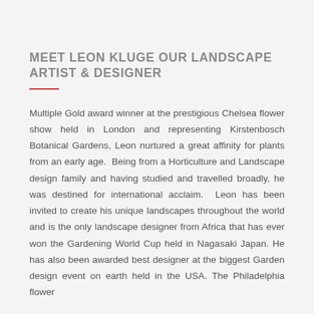MEET LEON KLUGE OUR LANDSCAPE ARTIST & DESIGNER
Multiple Gold award winner at the prestigious Chelsea flower show held in London and representing Kirstenbosch Botanical Gardens, Leon nurtured a great affinity for plants from an early age.  Being from a Horticulture and Landscape design family and having studied and travelled broadly, he was destined for international acclaim.  Leon has been invited to create his unique landscapes throughout the world and is the only landscape designer from Africa that has ever won the Gardening World Cup held in Nagasaki Japan. He has also been awarded best designer at the biggest Garden design event on earth held in the USA. The Philadelphia flower